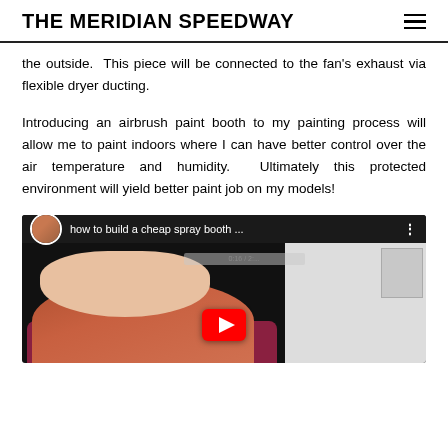THE MERIDIAN SPEEDWAY
the outside.  This piece will be connected to the fan's exhaust via flexible dryer ducting.
Introducing an airbrush paint booth to my painting process will allow me to paint indoors where I can have better control over the air temperature and humidity.  Ultimately this protected environment will yield better paint job on my models!
[Figure (screenshot): YouTube video thumbnail showing a woman with reddish-brown hair demonstrating how to build a cheap spray booth. Video title bar reads 'how to build a cheap spray booth ...' with channel avatar and menu dots.]